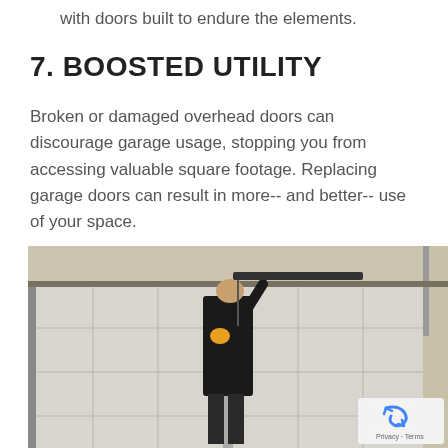with doors built to endure the elements.
7. BOOSTED UTILITY
Broken or damaged overhead doors can discourage garage usage, stopping you from accessing valuable square footage. Replacing garage doors can result in more-- and better-- use of your space.
[Figure (photo): A technician in a black t-shirt standing in front of a white paneled garage door, working on the door mechanism near the top rail.]